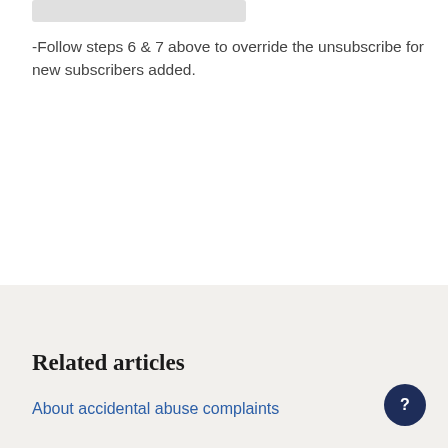[Figure (screenshot): A partially visible image or UI element at the top of the page, shown as a grey bar.]
-Follow steps 6 & 7 above to override the unsubscribe for new subscribers added.
Related articles
About accidental abuse complaints